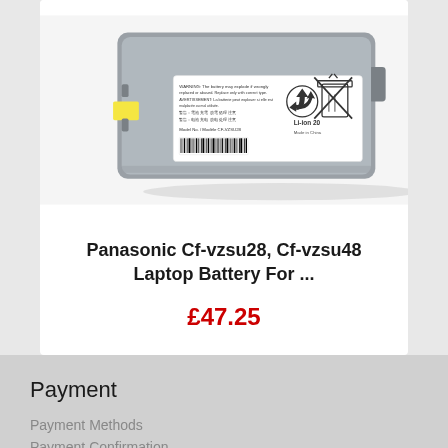[Figure (photo): Panasonic laptop battery, gray color, with white label showing model number CF-VZSU28, Li-ion 20, recycling and disposal symbols, yellow tab visible on left side, barcode on bottom of label.]
Panasonic Cf-vzsu28, Cf-vzsu48 Laptop Battery For ...
£47.25
Payment
Payment Methods
Payment Confirmation